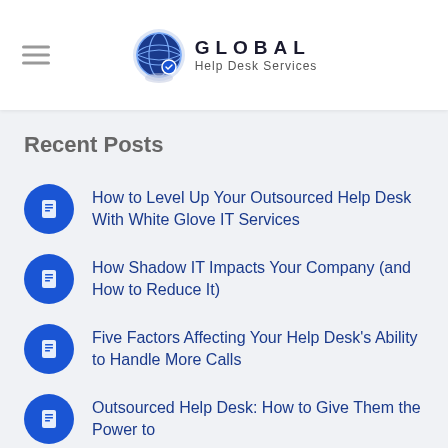GLOBAL Help Desk Services
Recent Posts
How to Level Up Your Outsourced Help Desk With White Glove IT Services
How Shadow IT Impacts Your Company (and How to Reduce It)
Five Factors Affecting Your Help Desk's Ability to Handle More Calls
Outsourced Help Desk: How to Give Them the Power to